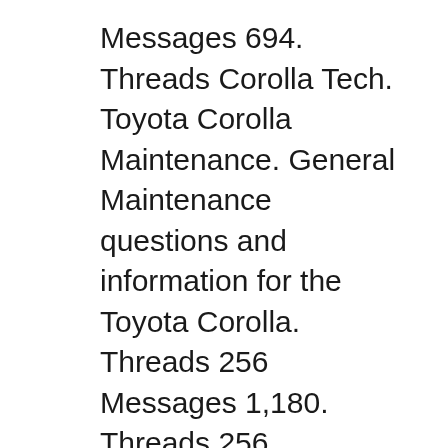Messages 694. Threads Corolla Tech. Toyota Corolla Maintenance. General Maintenance questions and information for the Toyota Corolla. Threads 256 Messages 1,180. Threads 256 Messages 1,180. No power to fuel sending to make Learn more about the 2001 Toyota Corolla. See the 2001 Toyota Corolla price range, expert review, consumer reviews, safety ratings, and listings near you.
Equip cars, trucks & SUVs with 2001 Toyota Corolla Repair Manual - Vehicle from AutoZone. Get Yours Today! We have the best products at the right price. Learn more about the 2001 Toyota Corolla. See the 2001 Toyota